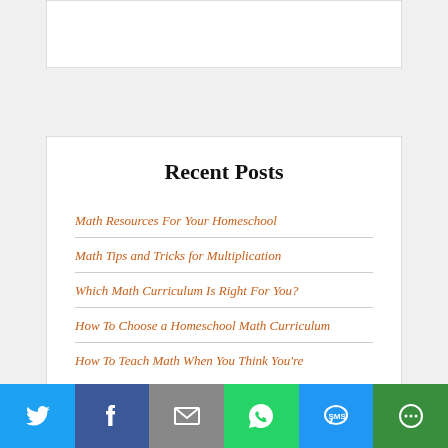Recent Posts
Math Resources For Your Homeschool
Math Tips and Tricks for Multiplication
Which Math Curriculum Is Right For You?
How To Choose a Homeschool Math Curriculum
How To Teach Math When You Think You're
[Figure (infographic): Social sharing bar with icons for Twitter, Facebook, Email, WhatsApp, SMS, and More]